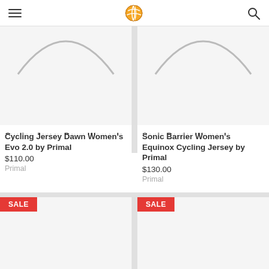[Figure (screenshot): Navigation bar with hamburger menu, cycling shop logo, and search icon]
[Figure (photo): Cycling Jersey Dawn Women's Evo 2.0 by Primal - product image placeholder with loading arc]
Cycling Jersey Dawn Women's Evo 2.0 by Primal
$110.00
Primal
[Figure (photo): Sonic Barrier Women's Equinox Cycling Jersey by Primal - product image placeholder with loading arc]
Sonic Barrier Women's Equinox Cycling Jersey by Primal
$130.00
Primal
[Figure (photo): SALE product image placeholder - left bottom]
[Figure (photo): SALE product image placeholder - right bottom]